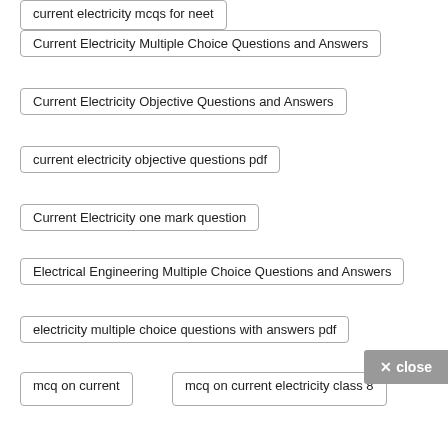current electricity mcqs for neet
Current Electricity Multiple Choice Questions and Answers
Current Electricity Objective Questions and Answers
current electricity objective questions pdf
Current Electricity one mark question
Electrical Engineering Multiple Choice Questions and Answers
electricity multiple choice questions with answers pdf
mcq on current
mcq on current electricity class 8